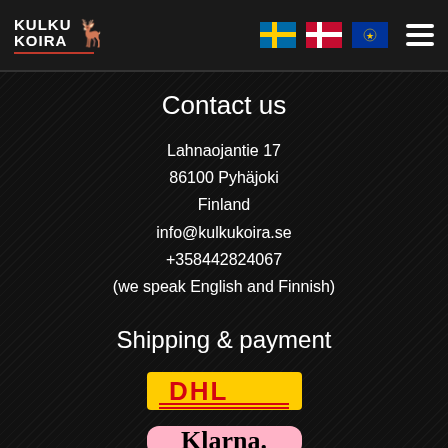KULKU KOIRA — navigation header with Swedish, Danish, EU flags and hamburger menu
Contact us
Lahnaojantie 17
86100 Pyhäjoki
Finland
info@kulkukoira.se
+358442824067
(we speak English and Finnish)
Shipping & payment
[Figure (logo): DHL logo — yellow background with red DHL text]
[Figure (logo): Klarna logo — pink/light background with Klarna. text]